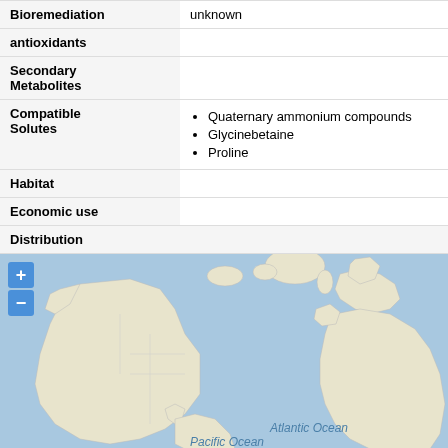| Category | Value |
| --- | --- |
| Bioremediation | unknown |
| antioxidants |  |
| Secondary Metabolites |  |
| Compatible Solutes | Quaternary ammonium compounds; Glycinebetaine; Proline |
| Habitat |  |
| Economic use |  |
Distribution
[Figure (map): World map showing distribution, with Atlantic Ocean and Pacific Ocean labels visible. Map includes zoom in (+) and zoom out (-) controls.]